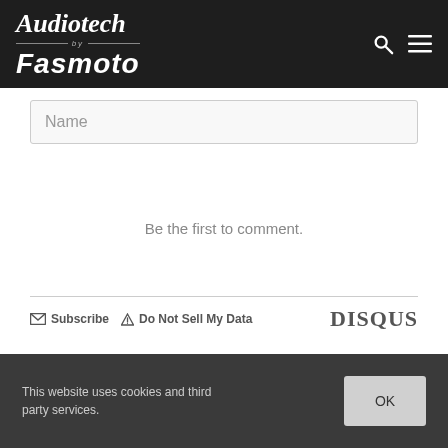Audiotech by Fasmoto
Name
Be the first to comment.
Subscribe  Do Not Sell My Data  DISQUS
This website uses cookies and third party services.  OK